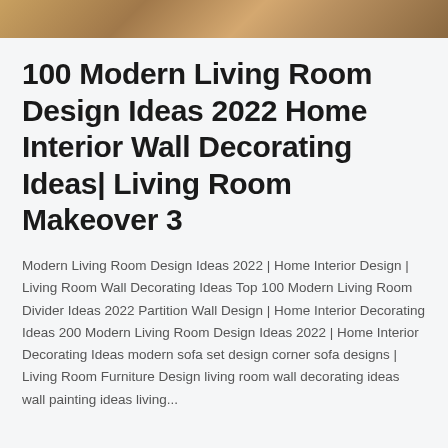[Figure (photo): Partial image of a living room or decorative interior scene with warm brown/tan tones visible at the top of the page]
100 Modern Living Room Design Ideas 2022 Home Interior Wall Decorating Ideas| Living Room Makeover 3
Modern Living Room Design Ideas 2022 | Home Interior Design | Living Room Wall Decorating Ideas Top 100 Modern Living Room Divider Ideas 2022 Partition Wall Design | Home Interior Decorating Ideas 200 Modern Living Room Design Ideas 2022 | Home Interior Decorating Ideas modern sofa set design corner sofa designs | Living Room Furniture Design living room wall decorating ideas wall painting ideas living...